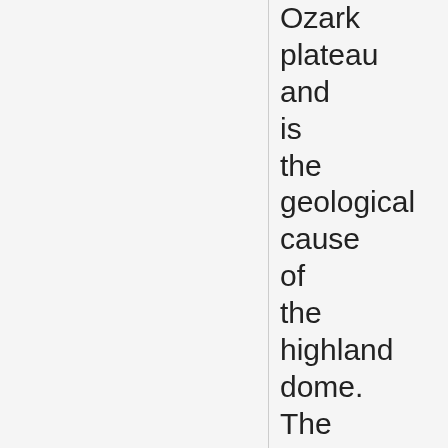Ozark plateau and is the geological cause of the highland dome. The igneous and volcanic rocks